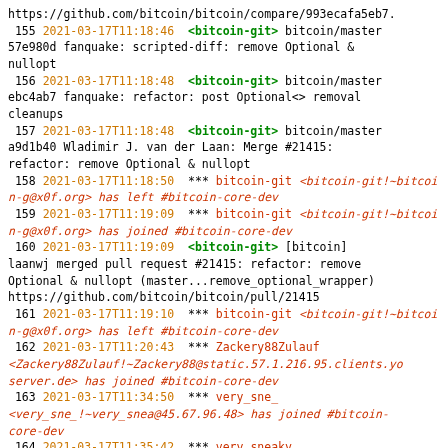https://github.com/bitcoin/bitcoin/compare/993ecafa5eb7...
155 2021-03-17T11:18:46 <bitcoin-git> bitcoin/master 57e980d fanquake: scripted-diff: remove Optional & nullopt
156 2021-03-17T11:18:48 <bitcoin-git> bitcoin/master ebc4ab7 fanquake: refactor: post Optional<> removal cleanups
157 2021-03-17T11:18:48 <bitcoin-git> bitcoin/master a9d1b40 Wladimir J. van der Laan: Merge #21415: refactor: remove Optional & nullopt
158 2021-03-17T11:18:50 *** bitcoin-git <bitcoin-git!~bitcoin-g@x0f.org> has left #bitcoin-core-dev
159 2021-03-17T11:19:09 *** bitcoin-git <bitcoin-git!~bitcoin-g@x0f.org> has joined #bitcoin-core-dev
160 2021-03-17T11:19:09 <bitcoin-git> [bitcoin] laanwj merged pull request #21415: refactor: remove Optional & nullopt (master...remove_optional_wrapper) https://github.com/bitcoin/bitcoin/pull/21415
161 2021-03-17T11:19:10 *** bitcoin-git <bitcoin-git!~bitcoin-g@x0f.org> has left #bitcoin-core-dev
162 2021-03-17T11:20:43 *** Zackery88Zulauf <Zackery88Zulauf!~Zackery88@static.57.1.216.95.clients.your-server.de> has joined #bitcoin-core-dev
163 2021-03-17T11:34:50 *** very_sne_ <very_sne_!~very_snea@45.67.96.48> has joined #bitcoin-core-dev
164 2021-03-17T11:35:42 *** very_sneaky <very_sneaky!~very_snea@45.67.96.36> has quit IRC (Ping...